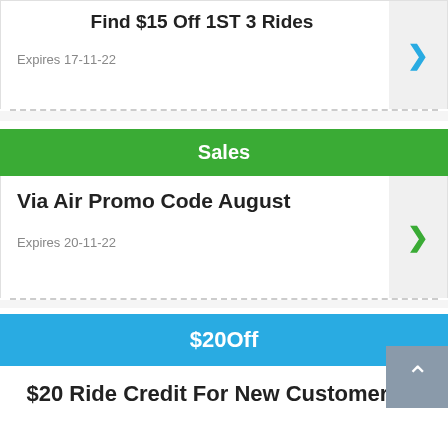Find $15 Off 1ST 3 Rides
Expires 17-11-22
Sales
Via Air Promo Code August
Expires 20-11-22
$20Off
$20 Ride Credit For New Customers S